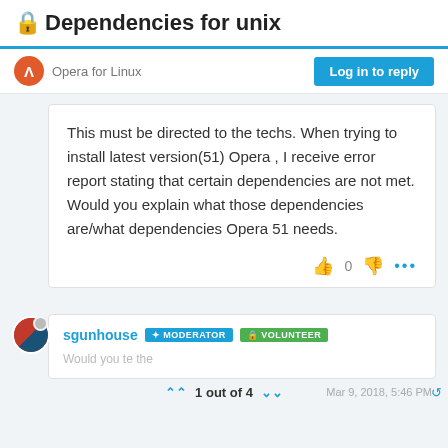🔒 Dependencies for unix
Opera for Linux
Log in to reply
This must be directed to the techs. When trying to install latest version(51) Opera , I receive error report stating that certain dependencies are not met. Would you explain what those dependencies are/what dependencies Opera 51 needs.
sgunhouse  MODERATOR  VOLUNTEER
Would you te the  Mar 9, 2018, 5:46 PM
1 out of 4